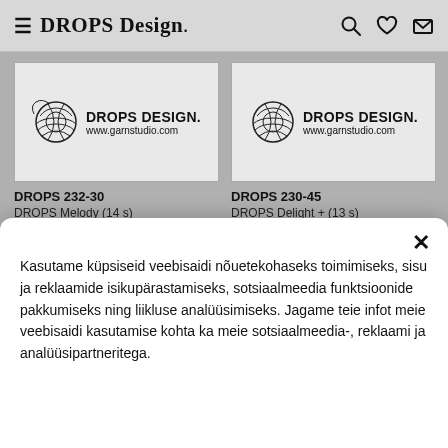≡ DROPS Design.
[Figure (screenshot): DROPS Design product card: DROPS 232-30, DROPS Melody (14 s)]
DROPS 232-30
DROPS Melody (14 s)
[Figure (screenshot): DROPS Design product card: DROPS 230-45, DROPS Delight + (13 s)]
DROPS 230-45
DROPS Delight + (13 s)
[Figure (photo): Woman with blonde hair in autumn outdoor setting wearing a brown cardigan, with an X close button]
[Figure (photo): Woman with dark hair smiling, wearing a gray top, indoor setting, with an X close button]
Kasutame küpsiseid veebisaidi nõuetekohaseks toimimiseks, sisu ja reklaamide isikupärastamiseks, sotsiaalmeedia funktsioonide pakkumiseks ning liikluse analüüsimiseks. Jagame teie infot meie veebisaidi kasutamise kohta ka meie sotsiaalmeedia-, reklaami ja analüüsipartneritega.